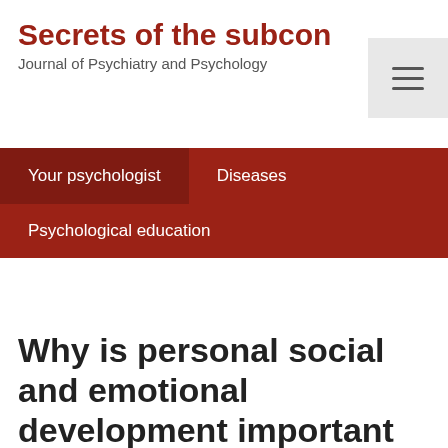Secrets of the subcon
Journal of Psychiatry and Psychology
Your psychologist
Diseases
Psychological education
Why is personal social and emotional development important in...?